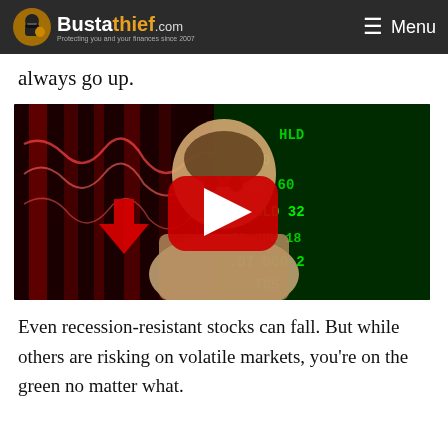Bustathief.com — Protecting you and your finances since 2007 | Menu
always go up.
[Figure (screenshot): YouTube video thumbnail showing a man with a surprised expression, red stock market chart on left with red down arrow, green stock ticker board on right showing HLD, RTD, TGS, UNW, GOD, TGS tickers, with red YouTube play button overlay in center.]
Even recession-resistant stocks can fall. But while others are risking on volatile markets, you're on the green no matter what.